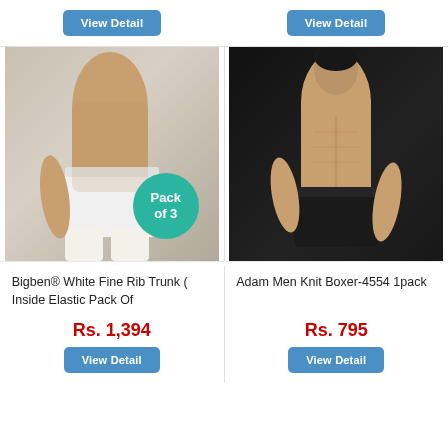[Figure (photo): Two 'View Detail' buttons at top, one for each product column]
[Figure (photo): Left product: man wearing white underwear/trunk shorts, with a teal 'Pack of 3' badge overlay]
[Figure (photo): Right product: man with dark background wearing black boxer shorts]
Bigben® White Fine Rib Trunk ( Inside Elastic Pack Of
Rs. 1,394
Adam Men Knit Boxer-4554 1pack
Rs. 795
[Figure (screenshot): Two 'View Detail' buttons at the bottom of each product card]